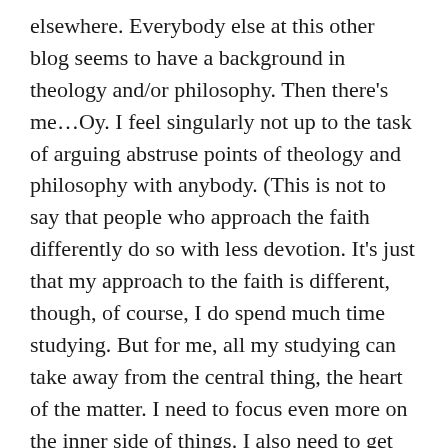elsewhere. Everybody else at this other blog seems to have a background in theology and/or philosophy. Then there's me…Oy. I feel singularly not up to the task of arguing abstruse points of theology and philosophy with anybody. (This is not to say that people who approach the faith differently do so with less devotion. It's just that my approach to the faith is different, though, of course, I do spend much time studying. But for me, all my studying can take away from the central thing, the heart of the matter. I need to focus even more on the inner side of things. I also need to get back to attending Daily Mass and saying my rosary faithfully. And the daily recitation of the Divine Office. How my interior life has slipped!)